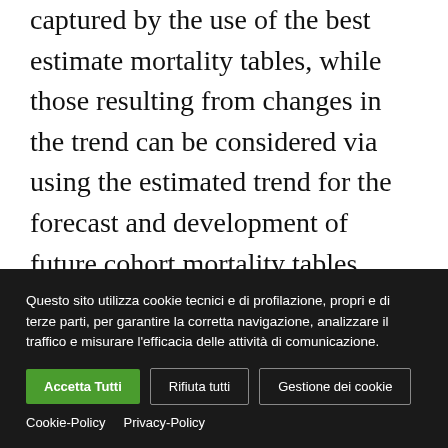captured by the use of the best estimate mortality tables, while those resulting from changes in the trend can be considered via using the estimated trend for the forecast and development of future cohort mortality tables. Mortality sensitivities can be measured by changes in life expectancies, which can be captured using a stochastic mortality model. EIOPA made use of the Lee-Carter (LC) and Cairns-Blake-Dowd (CBD) models, calibrated to data sourced from the Human Mortality Database
Questo sito utilizza cookie tecnici e di profilazione, propri e di terze parti, per garantire la corretta navigazione, analizzare il traffico e misurare l'efficacia delle attività di comunicazione.
Accetta Tutti | Rifiuta tutti | Gestione dei cookie | Cookie-Policy | Privacy-Policy